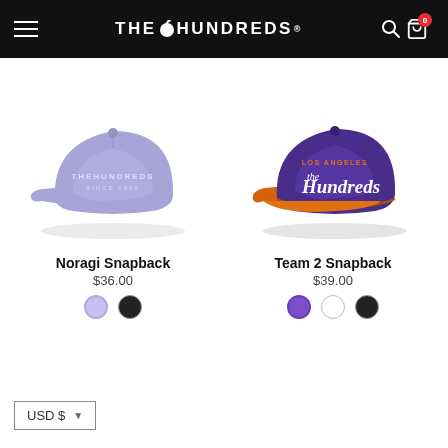THE HUNDREDS - navigation bar with hamburger menu, logo, search and cart icons (cart shows 0)
[Figure (photo): Lavender/periwinkle flat-brim snapback hat with 'THEHUNDREDS SINCE 1980' text embroidered in white on front]
Noragi Snapback
$36.00
[Figure (photo): Purple snapback hat with orange brim, 'LOS ANGELES the Hundreds' script embroidered on front in white and orange]
Team 2 Snapback
$39.00
USD $